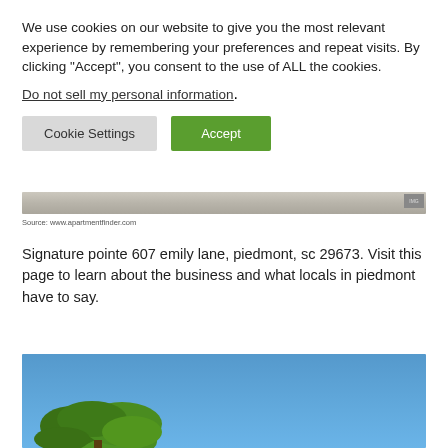We use cookies on our website to give you the most relevant experience by remembering your preferences and repeat visits. By clicking “Accept”, you consent to the use of ALL the cookies.
Do not sell my personal information.
Cookie Settings    Accept
[Figure (photo): Horizontal strip showing a road or path aerial view]
Source: www.apartmentfinder.com
Signature pointe 607 emily lane, piedmont, sc 29673. Visit this page to learn about the business and what locals in piedmont have to say.
[Figure (photo): Outdoor photo showing blue sky and green tree branches at the bottom]